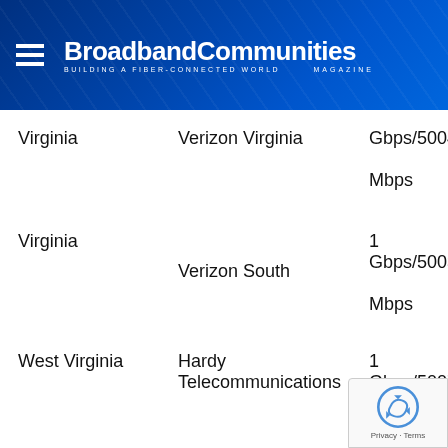BroadbandCommunities MAGAZINE — BUILDING A FIBER-CONNECTED WORLD
| State | Provider | Speed |
| --- | --- | --- |
| Virginia | Verizon Virginia | 1 Gbps/500421 Mbps |
| Virginia | Verizon South | 1 Gbps/50035 Mbps |
| West Virginia | Hardy Telecommunications | 1 Gbps/5007 Mbps |